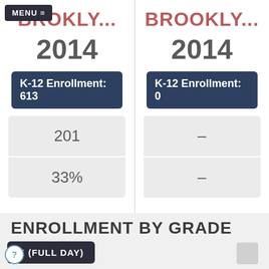MENU ≡ BROOKLY... | BROOKLY...
2014
K-12 Enrollment: 613
201
33%
2014
K-12 Enrollment: 0
–
–
ENROLLMENT BY GRADE
K (FULL DAY)